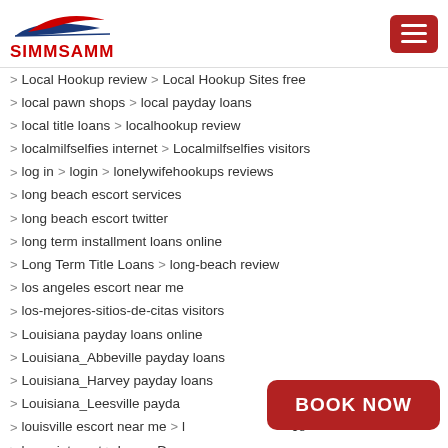[Figure (logo): SIMMSAMM logo with red and blue swoosh graphic and red text]
Local Hookup review > Local Hookup Sites free
local pawn shops > local payday loans
local title loans > localhookup review
localmilfselfies internet > Localmilfselfies visitors
log in > login > lonelywifehookups reviews
long beach escort services
long beach escort twitter
long term installment loans online
Long Term Title Loans > long-beach review
los angeles escort near me
los-mejores-sitios-de-citas visitors
Louisiana payday loans online
Louisiana_Abbeville payday loans
Louisiana_Harvey payday loans
Louisiana_Leesville payday loans
louisville escort near me > louisville escort service
louisy internet > Lousy Du...